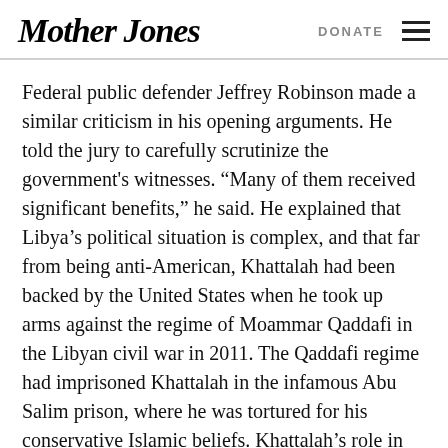Mother Jones | DONATE
Federal public defender Jeffrey Robinson made a similar criticism in his opening arguments. He told the jury to carefully scrutinize the government’s witnesses. “Many of them received significant benefits,” he said. He explained that Libya’s political situation is complex, and that far from being anti-American, Khattalah had been backed by the United States when he took up arms against the regime of Moammar Qaddafi in the Libyan civil war in 2011. The Qaddafi regime had imprisoned Khattalah in the infamous Abu Salim prison, where he was tortured for his conservative Islamic beliefs. Khattalah’s role in the civil war left him with